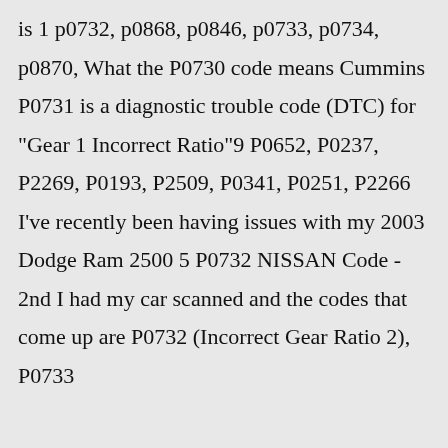is 1 p0732, p0868, p0846, p0733, p0734, p0870, What the P0730 code means Cummins P0731 is a diagnostic trouble code (DTC) for "Gear 1 Incorrect Ratio"9 P0652, P0237, P2269, P0193, P2509, P0341, P0251, P2266 I've recently been having issues with my 2003 Dodge Ram 2500 5 P0732 NISSAN Code - 2nd I had my car scanned and the codes that come up are P0732 (Incorrect Gear Ratio 2), P0733